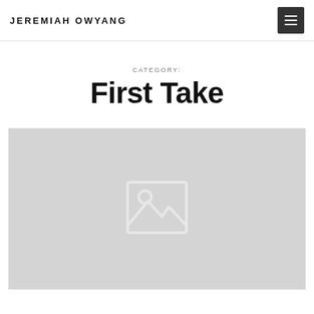JEREMIAH OWYANG
CATEGORY:
First Take
[Figure (illustration): Gray placeholder image with a landscape/photo icon (mountain and sun) in lighter gray]